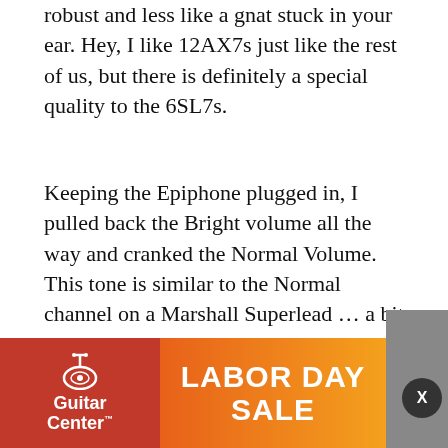robust and less like a gnat stuck in your ear. Hey, I like 12AX7s just like the rest of us, but there is definitely a special quality to the 6SL7s.
Keeping the Epiphone plugged in, I pulled back the Bright volume all the way and cranked the Normal Volume. This tone is similar to the Normal channel on a Marshall Superlead … a bit darker and less aggressive. This isn't a bad thing, just another tonal variety built in rather than a treble, middle, bass setup. I was treated to a thick, wailing tone on the neck pickup and a great, blooming sound. A little less edge at first, but I pushed the Presence up to nearly full and it brought out more AC30-like chime to the tone. Beautiful rock and roll. Moving on, I plugged in my '08 Fender Strat and dimed every control. Rolling the Strat's volume back while in the neck pickup setting conjur...
[Figure (other): Guitar Center Labor Day Sale advertisement banner with red left panel showing Guitar Center logo and guitar icon, and orange-to-yellow gradient right panel with 'LABOR DAY SALE' text in large white bold letters. A dark close button with X is visible at top right.]